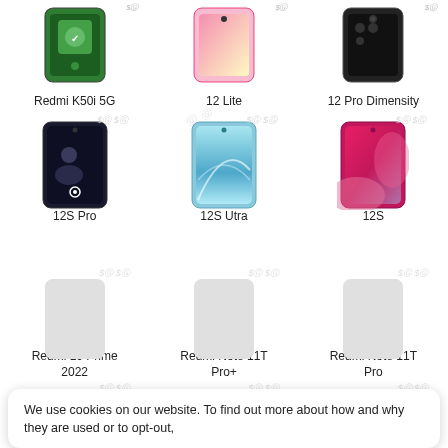[Figure (screenshot): Xiaomi smartphone product grid showing Redmi K50i 5G, 12 Lite, 12 Pro Dimensity in top row; 12S Pro, 12S Utra, 12S in middle row; Redmi 10 Prime 2022, Redmi Note 11T Pro+, Redmi Note 11T Pro in third row; partial fourth row; cookie consent banner at bottom]
Redmi K50i 5G
12 Lite
12 Pro Dimensity
12S Pro
12S Utra
12S
Redmi 10 Prime 2022
Redmi Note 11T Pro+
Redmi Note 11T Pro
We use cookies on our website. To find out more about how and why they are used or to opt-out, please read our Cookie Policy. By choosing ‘I Accept’, you consent to our use of cookies.